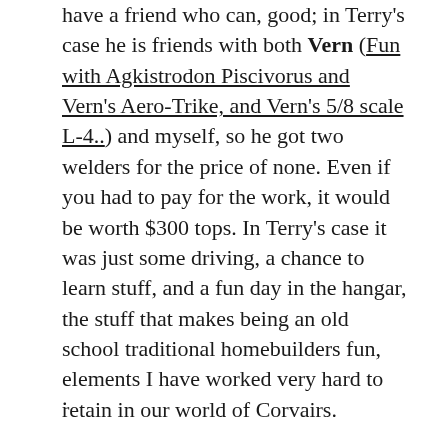have a friend who can, good; in Terry's case he is friends with both Vern (Fun with Agkistrodon Piscivorus and Vern's Aero-Trike, and Vern's 5/8 scale L-4..) and myself, so he got two welders for the price of none. Even if you had to pay for the work, it would be worth $300 tops. In Terry's case it was just some driving, a chance to learn stuff, and a fun day in the hangar, the stuff that makes being an old school traditional homebuilders fun, elements I have worked very hard to retain in our world of Corvairs.
.